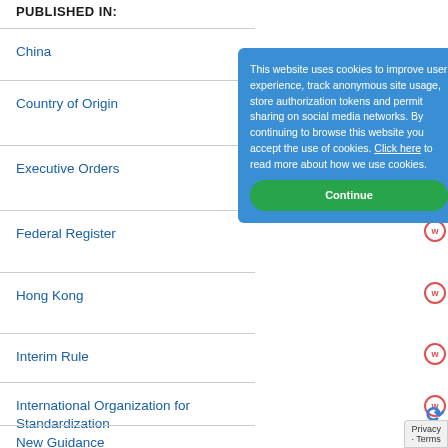PUBLISHED IN:
China
Country of Origin
Executive Orders
Federal Register
Hong Kong
Interim Rule
International Organization for Standardization
New Guidance
This website uses cookies to improve user experience, track anonymous site usage, store authorization tokens and permit sharing on social media networks. By continuing to browse this website you accept the use of cookies. Click here to read more about how we use cookies.
Continue
Privacy · Terms